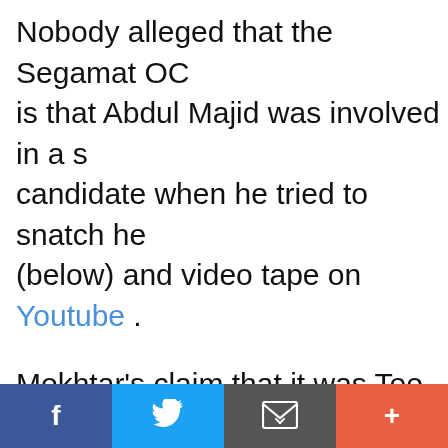Nobody alleged that the Segamat OC... is that Abdul Majid was involved in a s... candidate when he tried to snatch he... (below) and video tape on Youtube .
Mokhtar's claim that it was Teo who c... outrageous, as borne out by the phot...
I had gone up to Abdul Majid to urge h... with Teo in trying to snatch away the...
I find it... ...told th... ...th... Poli...
f  [twitter]  [email]  +